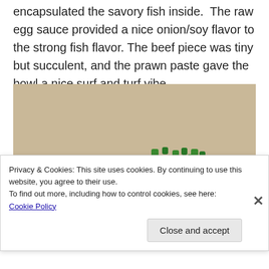encapsulated the savory fish inside. The raw egg sauce provided a nice onion/soy flavor to the strong fish flavor. The beef piece was tiny but succulent, and the prawn paste gave the bowl a nice surf and turf vibe.
[Figure (photo): A bowl of food featuring a dumpling, noodles, chopped green onions, and pieces of meat on a white plate.]
Privacy & Cookies: This site uses cookies. By continuing to use this website, you agree to their use. To find out more, including how to control cookies, see here: Cookie Policy. Close and accept.